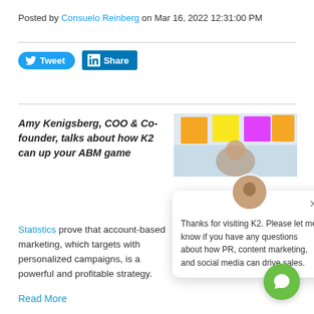Posted by Consuelo Reinberg on Mar 16, 2022 12:31:00 PM
[Figure (screenshot): Tweet and LinkedIn Share social buttons]
Amy Kenigsberg, COO & Co-founder, talks about how K2 can up your ABM game
[Figure (photo): Colorful sticky notes on a whiteboard with a person in background]
Statistics prove that account-based marketing, which targets with personalized campaigns, is a powerful and profitable strategy.
[Figure (screenshot): Chat popup: Thanks for visiting K2. Please let me know if you have any questions about how PR, content marketing, and social media can drive sales.]
Read More